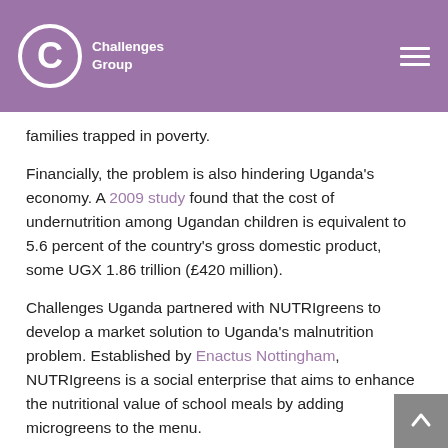Challenges Group
families trapped in poverty.
Financially, the problem is also hindering Uganda's economy. A 2009 study found that the cost of undernutrition among Ugandan children is equivalent to 5.6 percent of the country's gross domestic product, some UGX 1.86 trillion (£420 million).
Challenges Uganda partnered with NUTRIgreens to develop a market solution to Uganda's malnutrition problem. Established by Enactus Nottingham, NUTRIgreens is a social enterprise that aims to enhance the nutritional value of school meals by adding microgreens to the menu.
Microgreens are baby plants harvested between 7 and 21 days after germination. They contain up to 40 times the nutrient concentration of their mature counterparts, and